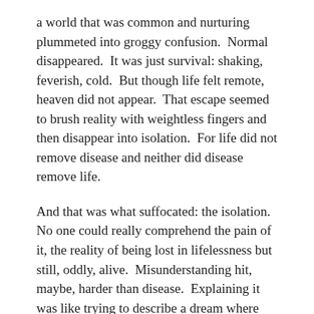a world that was common and nurturing plummeted into groggy confusion.  Normal disappeared.  It was just survival: shaking, feverish, cold.  But though life felt remote, heaven did not appear.  That escape seemed to brush reality with weightless fingers and then disappear into isolation.  For life did not remove disease and neither did disease remove life.
And that was what suffocated: the isolation.  No one could really comprehend the pain of it, the reality of being lost in lifelessness but still, oddly, alive.  Misunderstanding hit, maybe, harder than disease.  Explaining it was like trying to describe a dream where why and how and what were loosely dangling from everywhere but general comprehension.